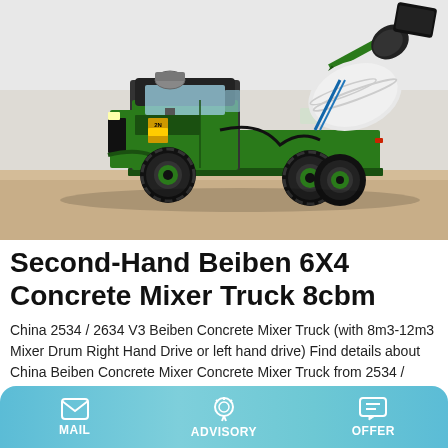[Figure (photo): A green Talenet self-loading concrete mixer truck on a paved surface, side view showing the mixer drum raised at rear and cab at front.]
Second-Hand Beiben 6X4 Concrete Mixer Truck 8cbm
China 2534 / 2634 V3 Beiben Concrete Mixer Truck (with 8m3-12m3 Mixer Drum Right Hand Drive or left hand drive) Find details about China Beiben Concrete Mixer Concrete Mixer Truck from 2534 / 2634 V3 (with 8m3-12m3 Drum Right Hand Drive or left hand drive) - Hubei Dong Runze Special
MAIL   ADVISORY   OFFER